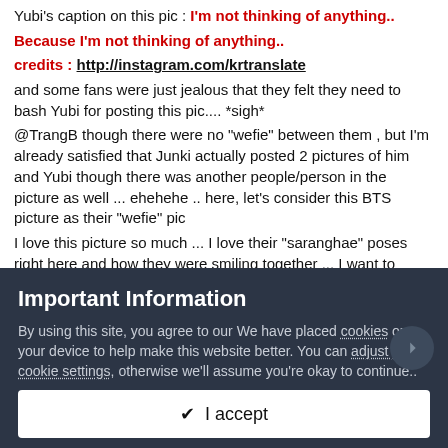Yubi's caption on this pic : I'm not thinking of anything.. Because I'm not thinking of anything.. credits : http://instagram.com/krtranslate and some fans were just jealous that they felt they need to bash Yubi for posting this pic....  *sigh* @TrangB though there were no "wefie" between them , but I'm already satisfied that Junki actually posted 2 pictures of him and Yubi though there was another people/person in the picture as well ... ehehehe .. here, let's consider this BTS picture as their "wefie" pic I love this picture so much ... I love their "saranghae"  poses right here and how they were smiling together ... I want to believe that they have this picture in their personal camera
Important Information
By using this site, you agree to our We have placed cookies on your device to help make this website better. You can adjust your cookie settings, otherwise we'll assume you're okay to continue..
I accept